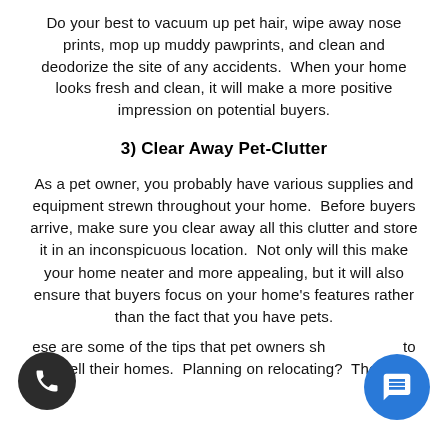Do your best to vacuum up pet hair, wipe away nose prints, mop up muddy pawprints, and clean and deodorize the site of any accidents.  When your home looks fresh and clean, it will make a more positive impression on potential buyers.
3) Clear Away Pet-Clutter
As a pet owner, you probably have various supplies and equipment strewn throughout your home.  Before buyers arrive, make sure you clear away all this clutter and store it in an inconspicuous location.  Not only will this make your home neater and more appealing, but it will also ensure that buyers focus on your home's features rather than the fact that you have pets.
ese are some of the tips that pet owners sho to sell their homes.  Planning on relocating?  Then